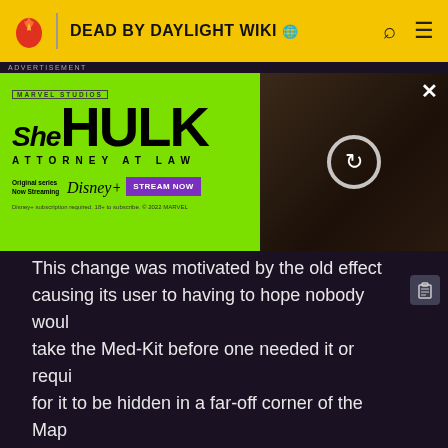DEAD BY DAYLIGHT WIKI
[Figure (screenshot): She-Hulk Attorney at Law advertisement banner on Disney+, green background with Marvel Studios logo, She-Hulk show title, Disney+ logo, Stream Now button, and actress photo on the right side]
This change was motivated by the old effect causing its user to having to hope nobody would take the Med-Kit before one needed it or requiring for it to be hidden in a far-off corner of the Map like a "Med-Kit Goblin".
Nerf: this change also causes the increased Unlocking speed and reduced Hearing range to no longer function while healthy.